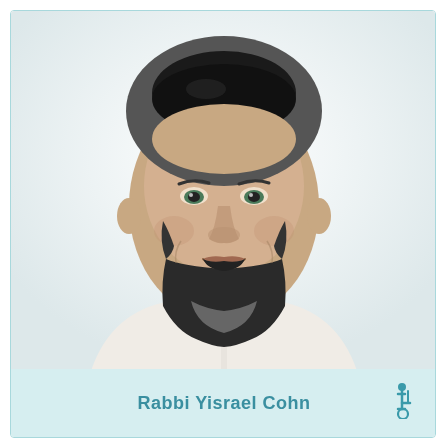[Figure (photo): Headshot of a bearded man wearing a black kippah and a white button-down shirt, smiling, against a light gray/white background.]
Rabbi Yisrael Cohn